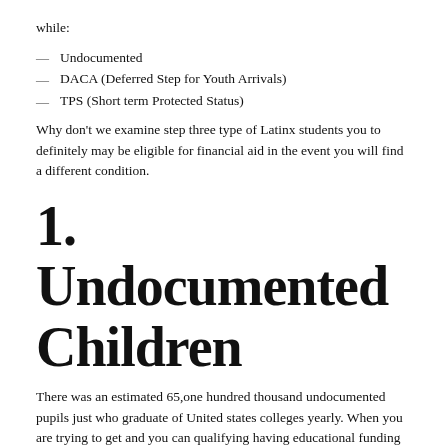while:
Undocumented
DACA (Deferred Step for Youth Arrivals)
TPS (Short term Protected Status)
Why don’t we examine step three type of Latinx students you to definitely may be eligible for financial aid in the event you will find a different condition.
1. Undocumented Children
There was an estimated 65,one hundred thousand undocumented pupils just who graduate of United states colleges yearly. When you are trying to get and you can qualifying having educational funding may be much harder, it is far from impossible.